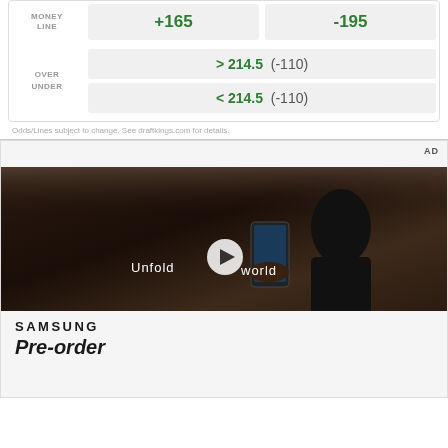|  | Team 1 | Team 2 |
| --- | --- | --- |
| MONEY LINE | +165 | -195 |
| OVER UNDER | > 214.5 (-110) | < 214.5 (-110) |
Odds/Lines subject to change. See draftkings.com for details.
[Figure (screenshot): Advertisement section with AD label, Samsung video ad showing a woman in a car holding a foldable phone with text 'Unfold your world' and a play button overlay. Below the video is the Samsung logo and 'Pre-order' text.]